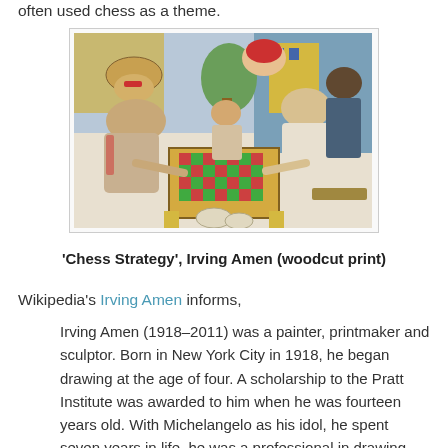often used chess as a theme.
[Figure (illustration): A colorful woodcut print by Irving Amen titled 'Chess Strategy', showing multiple figures gathered around a chess board in an expressionist style.]
'Chess Strategy', Irving Amen (woodcut print)
Wikipedia's Irving Amen informs,
Irving Amen (1918–2011) was a painter, printmaker and sculptor. Born in New York City in 1918, he began drawing at the age of four. A scholarship to the Pratt Institute was awarded to him when he was fourteen years old. With Michelangelo as his idol, he spent seven years in life, he was a professional in drawing. From 1948 t